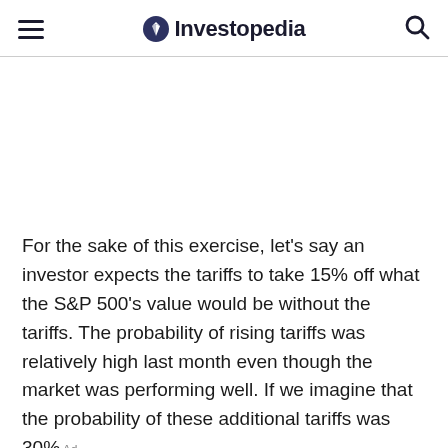Investopedia
For the sake of this exercise, let's say an investor expects the tariffs to take 15% off what the S&P 500's value would be without the tariffs. The probability of rising tariffs was relatively high last month even though the market was performing well. If we imagine that the probability of these additional tariffs was 30%